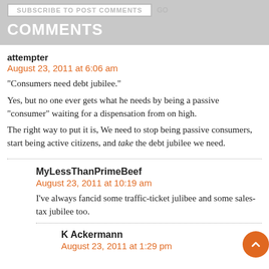COMMENTS
attempter
August 23, 2011 at 6:06 am
“Consumers need debt jubilee.”
Yes, but no one ever gets what he needs by being a passive “consumer” waiting for a dispensation from on high.
The right way to put it is, We need to stop being passive consumers, start being active citizens, and take the debt jubilee we need.
MyLessThanPrimeBeef
August 23, 2011 at 10:19 am
I’ve always fancid some traffic-ticket julibee and some sales-tax jubilee too.
K Ackermann
August 23, 2011 at 1:29 pm